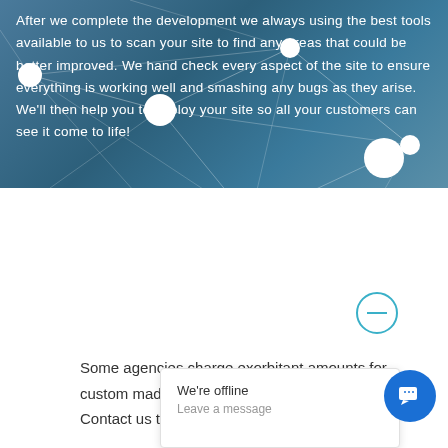[Figure (illustration): Dark teal/blue network diagram background with white nodes connected by thin lines forming a geometric mesh pattern]
After we complete the development we always using the best tools available to us to scan your site to find any areas that could be better improved. We hand check every aspect of the site to ensure everything is working well and smashing any bugs as they arise. We'll then help you to deploy your site so all your customers can see it come to life!
[Figure (illustration): Teal outlined circle with a minus/dash symbol in the center, positioned on the white section]
Some agencies charge exorbitant amounts for custom made designed to cr fraction of the cost. Contact us today for a
[Figure (illustration): White chat popup overlay showing 'We're offline' and 'Leave a message' text with a blue circular chat button icon]